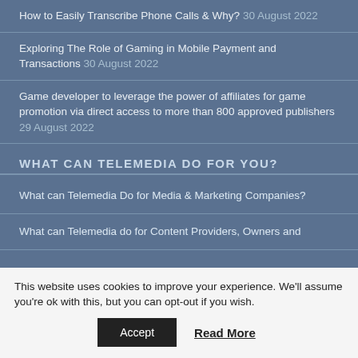How to Easily Transcribe Phone Calls & Why? 30 August 2022
Exploring The Role of Gaming in Mobile Payment and Transactions 30 August 2022
Game developer to leverage the power of affiliates for game promotion via direct access to more than 800 approved publishers 29 August 2022
WHAT CAN TELEMEDIA DO FOR YOU?
What can Telemedia Do for Media & Marketing Companies?
What can Telemedia do for Content Providers, Owners and
This website uses cookies to improve your experience. We'll assume you're ok with this, but you can opt-out if you wish.